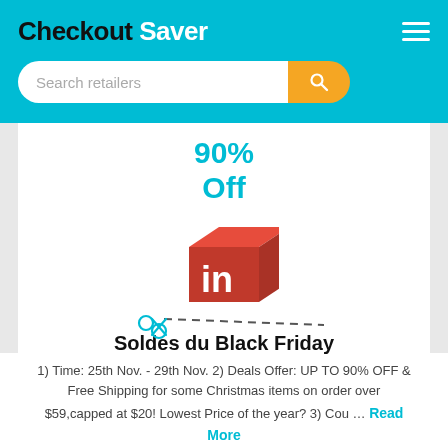Checkout Saver
Search retailers
90% Off
[Figure (logo): LinkedIn-style 3D red cube logo with white 'in' letters]
Soldes du Black Friday
1) Time: 25th Nov. - 29th Nov. 2) Deals Offer: UP TO 90% OFF & Free Shipping for some Christmas items on order over $59,capped at $20! Lowest Price of the year? 3) Cou … Read More
[Figure (illustration): Coupon scissors dashed line icon at bottom]